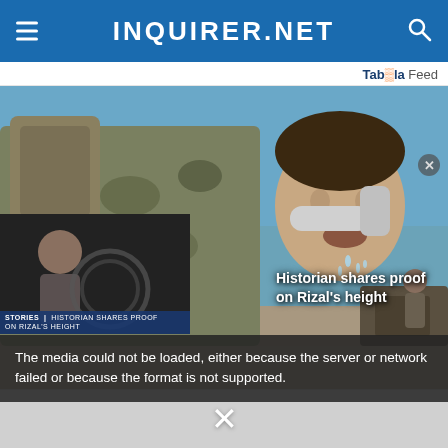INQUIRER.NET
Taboola Feed
[Figure (photo): A soldier in camouflage gear drinking water from a hose outdoors near a waterfront, military equipment visible in background.]
The media could not be loaded, either because the server or network failed or because the format is not supported.
Historian shares proof on Rizal's height
X